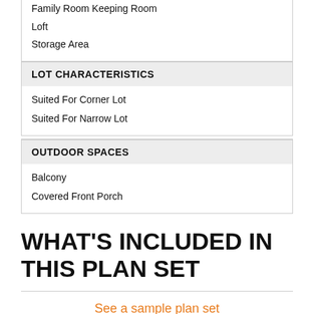Family Room Keeping Room
Loft
Storage Area
LOT CHARACTERISTICS
Suited For Corner Lot
Suited For Narrow Lot
OUTDOOR SPACES
Balcony
Covered Front Porch
WHAT'S INCLUDED IN THIS PLAN SET
See a sample plan set